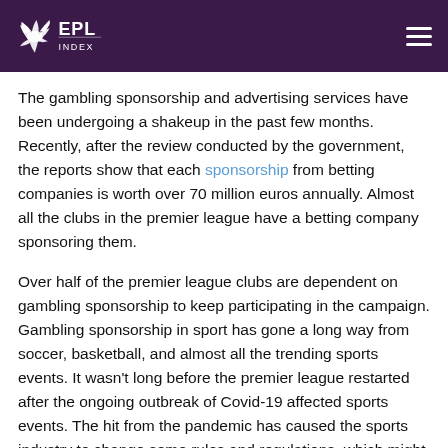EPL Index
The gambling sponsorship and advertising services have been undergoing a shakeup in the past few months. Recently, after the review conducted by the government, the reports show that each sponsorship from betting companies is worth over 70 million euros annually. Almost all the clubs in the premier league have a betting company sponsoring them.
Over half of the premier league clubs are dependent on gambling sponsorship to keep participating in the campaign. Gambling sponsorship in sport has gone a long way from soccer, basketball, and almost all the trending sports events. It wasn't long before the premier league restarted after the ongoing outbreak of Covid-19 affected sports events. The hit from the pandemic has caused the sports industry to change some rules and regulations, which might affect them financially.